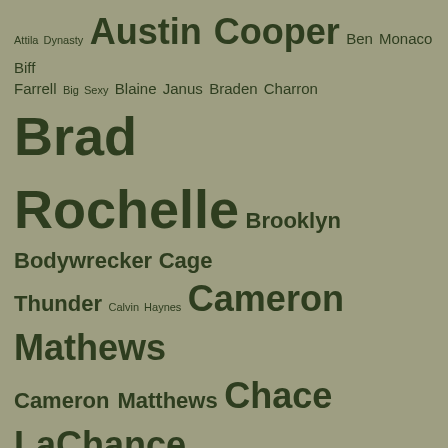Attila Dynasty Austin Cooper Ben Monaco Biff Farrell Big Sexy Blaine Janus Braden Charron Brad Rochelle Brooklyn Bodywrecker Cage Thunder Calvin Haynes Cameron Mathews Cameron Matthews Chace LaChance Charlie Evans Chase Addams Chris Cuomo Christian Taylor Christopher Bruce Cole Cassidy Damien Rush Darius Denny Cartier Derek da Silva Drake Marcos Eli Black Enforcer Ethan Andrews Gabriel Ross Gio Benitez Guido Genatto Jake Jenkins Jayden Mayne Jobe Zander Joe Robbins Jonny Firestorm Joshua